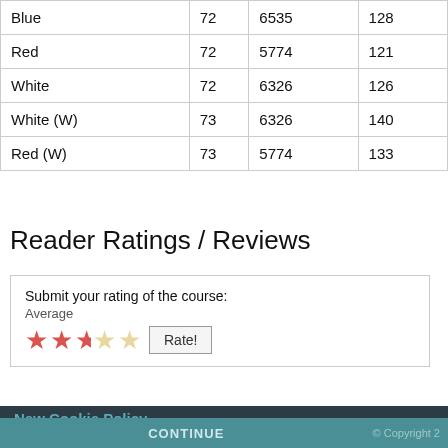| Blue | 72 | 6535 | 128 |
| Red | 72 | 5774 | 121 |
| White | 72 | 6326 | 126 |
| White (W) | 73 | 6326 | 140 |
| Red (W) | 73 | 5774 | 133 |
Reader Ratings / Reviews
Submit your rating of the course:
Average
[Figure (other): Star rating widget showing approximately 2.5 out of 5 stars (2 full red stars, 1 half red star, 2 empty stars) with a Rate! button]
New Cookie Policy
WE AND OUR PARTNERS USE COOKIES ON THIS SITE TO IMPROVE OUR SERVICE, PERFORM ANALYTICS, PERSONALIZE ADVERTISING, MEASURE ADVERTISING PERFORMANCE, AND REMEMBER WEBSITE PREFERENCES. BY USING THE SITE, YOU CONSENT TO THESE COOKIES. FOR MORE INFORMATION ON COOKIES INCLUDING HOW TO MANAGE YOUR CONSENT VISIT OUR COOKIE POLICY | Terms of Use | ▷AdC
CONTINUE © Copyright 2